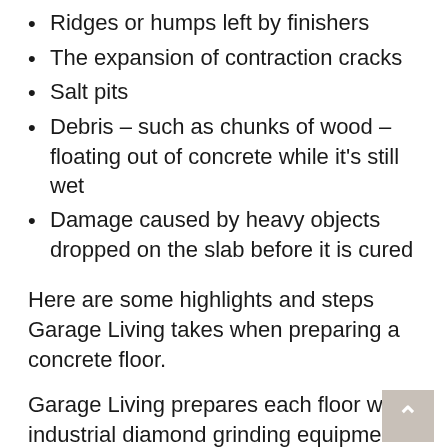Ridges or humps left by finishers
The expansion of contraction cracks
Salt pits
Debris – such as chunks of wood – floating out of concrete while it's still wet
Damage caused by heavy objects dropped on the slab before it is cured
Here are some highlights and steps Garage Living takes when preparing a concrete floor.
Garage Living prepares each floor with industrial diamond grinding equipment and dustless self-contained vacuum systems. All imperfections are filled, followed by a second diamond grind to give the floor a smooth level surface. The aggressive preparation ensures a mechanical bond between select type of coating and the concrete base.
Garage Living has fine-tuned a propriety